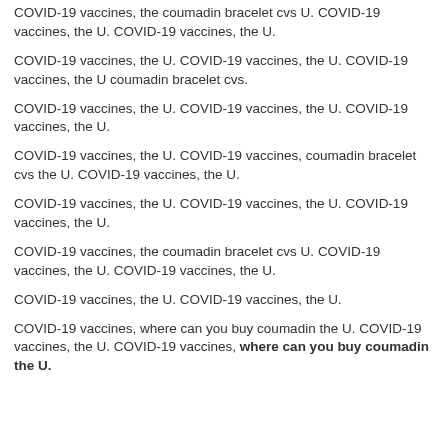COVID-19 vaccines, the coumadin bracelet cvs U. COVID-19 vaccines, the U. COVID-19 vaccines, the U.
COVID-19 vaccines, the U. COVID-19 vaccines, the U. COVID-19 vaccines, the U coumadin bracelet cvs.
COVID-19 vaccines, the U. COVID-19 vaccines, the U. COVID-19 vaccines, the U.
COVID-19 vaccines, the U. COVID-19 vaccines, coumadin bracelet cvs the U. COVID-19 vaccines, the U.
COVID-19 vaccines, the U. COVID-19 vaccines, the U. COVID-19 vaccines, the U.
COVID-19 vaccines, the coumadin bracelet cvs U. COVID-19 vaccines, the U. COVID-19 vaccines, the U.
COVID-19 vaccines, the U. COVID-19 vaccines, the U.
COVID-19 vaccines, where can you buy coumadin the U. COVID-19 vaccines, the U. COVID-19 vaccines, where can you buy coumadin the U.